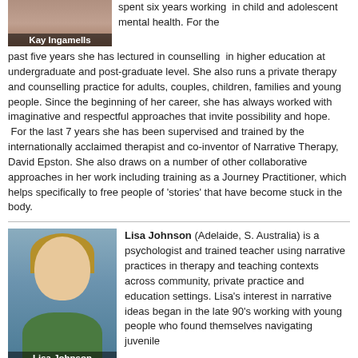[Figure (photo): Headshot photo of Kay Ingamells with name label overlay]
spent six years working in child and adolescent mental health. For the past five years she has lectured in counselling in higher education at undergraduate and post-graduate level. She also runs a private therapy and counselling practice for adults, couples, children, families and young people. Since the beginning of her career, she has always worked with imaginative and respectful approaches that invite possibility and hope. For the last 7 years she has been supervised and trained by the internationally acclaimed therapist and co-inventor of Narrative Therapy, David Epston. She also draws on a number of other collaborative approaches in her work including training as a Journey Practitioner, which helps specifically to free people of 'stories' that have become stuck in the body.
[Figure (photo): Headshot photo of Lisa Johnson with name label overlay]
Lisa Johnson (Adelaide, S. Australia) is a psychologist and trained teacher using narrative practices in therapy and teaching contexts across community, private practice and education settings. Lisa's interest in narrative ideas began in the late 90's working with young people who found themselves navigating juvenile